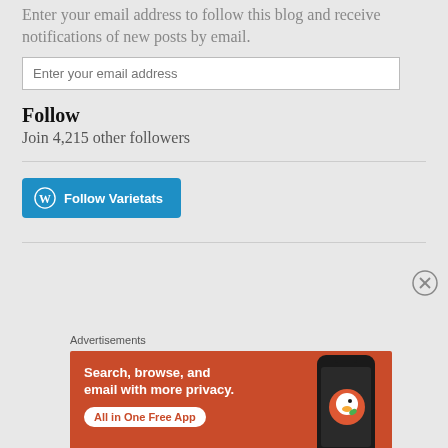Enter your email address to follow this blog and receive notifications of new posts by email.
Enter your email address
Follow
Join 4,215 other followers
[Figure (other): WordPress Follow Varietats button — teal rounded button with WordPress logo and text 'Follow Varietats']
Advertisements
[Figure (other): DuckDuckGo advertisement banner with orange background showing a phone, text 'Search, browse, and email with more privacy. All in One Free App']